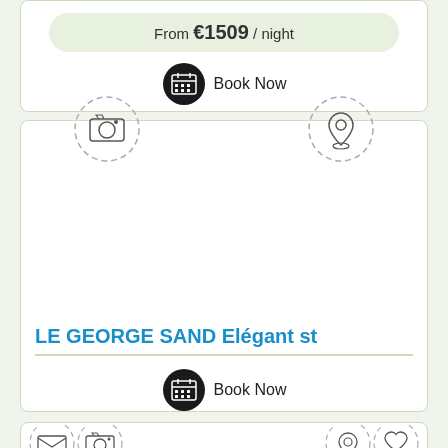From €1509 / night
Book Now
[Figure (illustration): Camera icon in dashed circle (photo placeholder)]
[Figure (illustration): Location pin icon in dashed circle (map placeholder)]
LE GEORGE SAND Elégant st
Book Now
[Figure (illustration): Partial bottom card with envelope, camera, location pin, and heart icons in dashed circles]